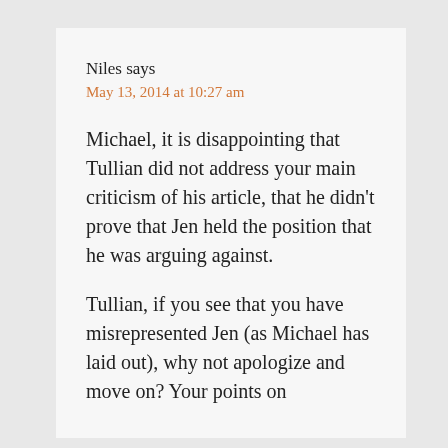Niles says
May 13, 2014 at 10:27 am
Michael, it is disappointing that Tullian did not address your main criticism of his article, that he didn't prove that Jen held the position that he was arguing against.
Tullian, if you see that you have misrepresented Jen (as Michael has laid out), why not apologize and move on? Your points on